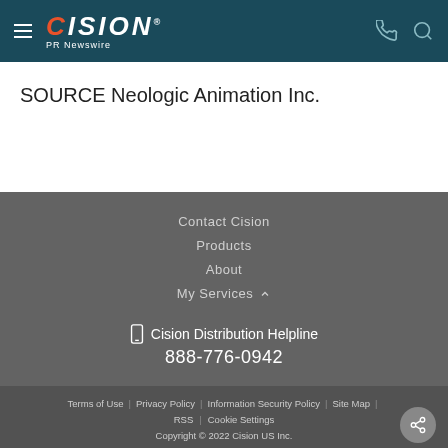CISION PR Newswire
SOURCE Neologic Animation Inc.
Contact Cision
Products
About
My Services
Cision Distribution Helpline 888-776-0942
Terms of Use | Privacy Policy | Information Security Policy | Site Map | RSS | Cookie Settings
Copyright © 2022 Cision US Inc.